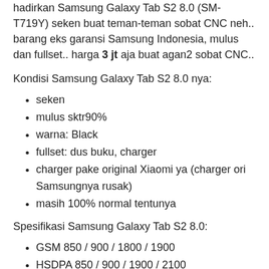hadirkan Samsung Galaxy Tab S2 8.0 (SM-T719Y) seken buat teman-teman sobat CNC neh.. barang eks garansi Samsung Indonesia, mulus dan fullset.. harga 3 jt aja buat agan2 sobat CNC..
Kondisi Samsung Galaxy Tab S2 8.0 nya:
seken
mulus sktr90%
warna: Black
fullset: dus buku, charger
charger pake original Xiaomi ya (charger ori Samsungnya rusak)
masih 100% normal tentunya
Spesifikasi Samsung Galaxy Tab S2 8.0:
GSM 850 / 900 / 1800 / 1900
HSDPA 850 / 900 / 1900 / 2100
LTE band 1(2100), 2(1900), 3(1800), 4(1700/2100), 5(850), 7(2600), 8(900), 17(700),